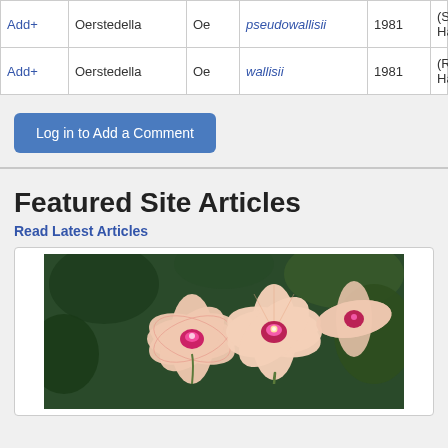|  | Genus | Abbr. | Species | Year | Author |
| --- | --- | --- | --- | --- | --- |
| Add+ | Oerstedella | Oe | pseudowallisii | 1981 | (Schltr.) Hágsater |
| Add+ | Oerstedella | Oe | wallisii | 1981 | (Rchb.f.) Hágsater |
Log in to Add a Comment
Featured Site Articles
Read Latest Articles
[Figure (photo): Photo of pink Phalaenopsis orchid flowers with magenta centers against a dark green leafy background]